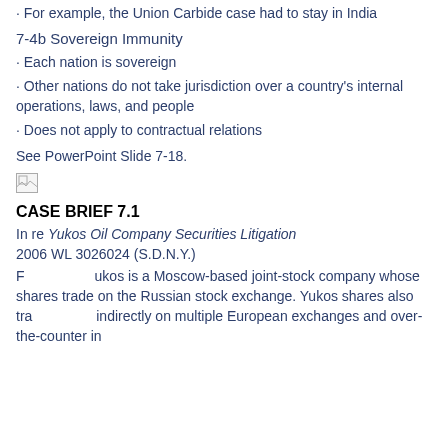· For example, the Union Carbide case had to stay in India
7-4b Sovereign Immunity
· Each nation is sovereign
· Other nations do not take jurisdiction over a country's internal operations, laws, and people
· Does not apply to contractual relations
See PowerPoint Slide 7-18.
[Figure (illustration): Broken image placeholder icon]
CASE BRIEF 7.1
In re Yukos Oil Company Securities Litigation
2006 WL 3026024 (S.D.N.Y.)
Facts: Yukos is a Moscow-based joint-stock company whose shares trade on the Russian stock exchange. Yukos shares also traded indirectly on multiple European exchanges and over-the-counter in